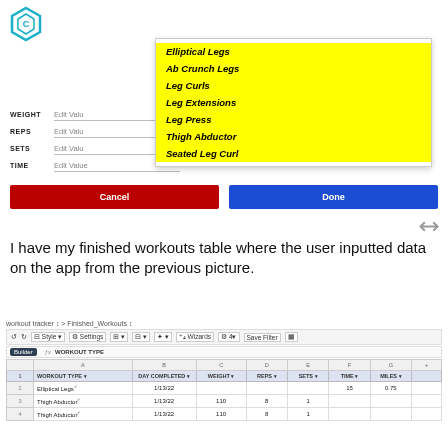[Figure (screenshot): App form with fields for WEIGHT, REPS, SETS, TIME and a dropdown overlay showing exercise options: Elliptical Legs, Ab Crunch Legs, Leg Curls, Leg Extensions, Leg Press, Thigh Abductor, Seated Leg Curl. Cancel (red) and Done (blue) buttons at bottom.]
I have my finished workouts table where the user inputted data on the app from the previous picture.
[Figure (screenshot): Airtable spreadsheet showing Finished_Workouts table with columns: WORKOUT TYPE, DAY COMPLETED, WEIGHT, REPS, SETS, TIME, Miles. Rows include: Elliptical Legs 1/13/22 time 15 miles 0.75; Thigh Abductor 1/13/22 110 8 1; Thigh Abductor 1/13/22 110 8 1.]